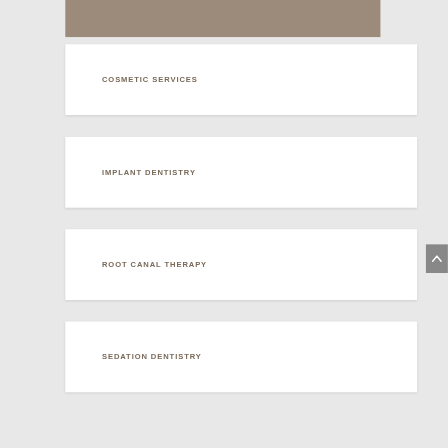[Figure (other): Partially visible tan/beige banner at the top of the page with text cut off]
COSMETIC SERVICES
IMPLANT DENTISTRY
ROOT CANAL THERAPY
SEDATION DENTISTRY